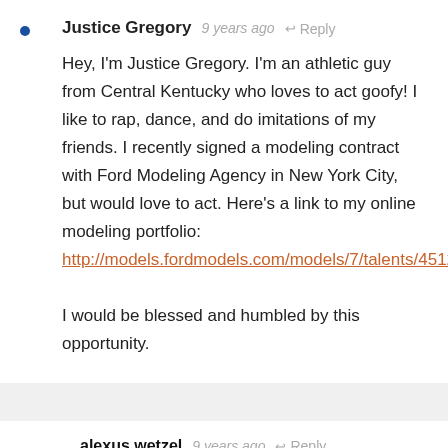Justice Gregory · 9 years ago · Reply
Hey, I'm Justice Gregory. I'm an athletic guy from Central Kentucky who loves to act goofy! I like to rap, dance, and do imitations of my friends. I recently signed a modeling contract with Ford Modeling Agency in New York City, but would love to act. Here's a link to my online modeling portfolio:
http://models.fordmodels.com/models/7/talents/45124

I would be blessed and humbled by this opportunity.
alexus wetzel · 9 years ago · Reply
Hi i would love to be on this show. I'm 14 years old and I love to act. All my friends say I'm funny and a nice person, and I love to dance and be out there to help...